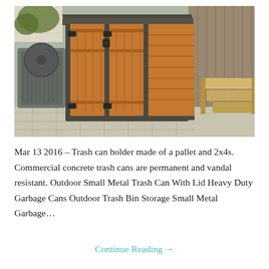[Figure (photo): A wooden trash can holder/storage unit with two front doors featuring vertical slat panels, black metal hardware, a dark gray slanted roof, and horizontal wood slat sides. Unit is positioned on a stone patio next to an AC unit and wooden deck stairs.]
Mar 13 2016 – Trash can holder made of a pallet and 2x4s. Commercial concrete trash cans are permanent and vandal resistant. Outdoor Small Metal Trash Can With Lid Heavy Duty Garbage Cans Outdoor Trash Bin Storage Small Metal Garbage…
Continue Reading →